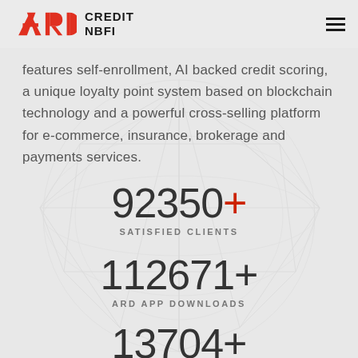ARD CREDIT NBFI
features self-enrollment, AI backed credit scoring, a unique loyalty point system based on blockchain technology and a powerful cross-selling platform for e-commerce, insurance, brokerage and payments services.
92350+ SATISFIED CLIENTS
112671+ ARD APP DOWNLOADS
13704+